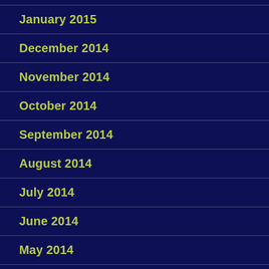January 2015
December 2014
November 2014
October 2014
September 2014
August 2014
July 2014
June 2014
May 2014
April 2014
March 2014